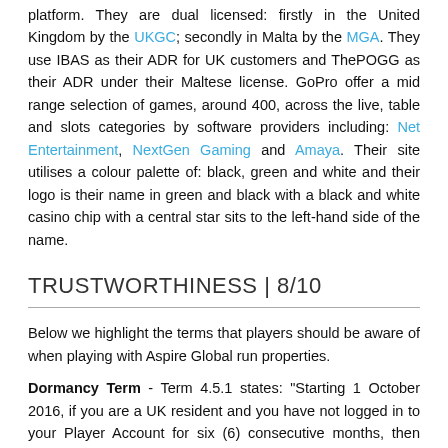platform. They are dual licensed: firstly in the United Kingdom by the UKGC; secondly in Malta by the MGA. They use IBAS as their ADR for UK customers and ThePOGG as their ADR under their Maltese license. GoPro offer a mid range selection of games, around 400, across the live, table and slots categories by software providers including: Net Entertainment, NextGen Gaming and Amaya. Their site utilises a colour palette of: black, green and white and their logo is their name in green and black with a black and white casino chip with a central star sits to the left-hand side of the name.
TRUSTWORTHINESS | 8/10
Below we highlight the terms that players should be aware of when playing with Aspire Global run properties.
Dormancy Term - Term 4.5.1 states: "Starting 1 October 2016, if you are a UK resident and you have not logged in to your Player Account for six (6) consecutive months, then your Player Account will be considered as 'dormant account' and We will charge a monthly maintenance fee that will be deducted from the balance of your account. Such fee being the higher of: (a) ten (10) percent of the then current balance of the account; or (b) GBP 5, until the balance of the account reaches zero." 24/07/2018
Responsible Gambling - Term 4.6 states: "To recover funds from